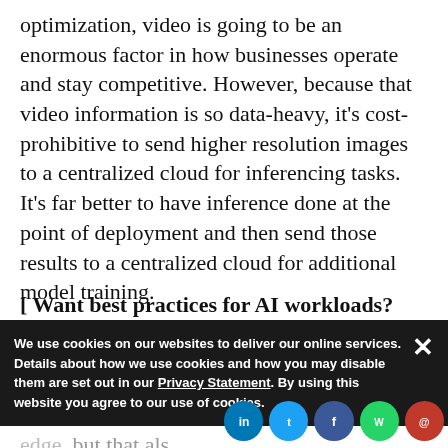optimization, video is going to be an enormous factor in how businesses operate and stay competitive. However, because that video information is so data-heavy, it’s cost-prohibitive to send higher resolution images to a centralized cloud for inferencing tasks. It’s far better to have inference done at the point of deployment and then send those results to a centralized cloud for additional model training.
[ Want best practices for AI workloads? Get the eBook: Top considerations for building a production-ready AI/ML environment. ]
We use cookies on our websites to deliver our online services. Details about how we use cookies and how you may disable them are set out in our Privacy Statement. By using this website you agree to our use of cookies.
so it makes busine... edge, but that als computing at the